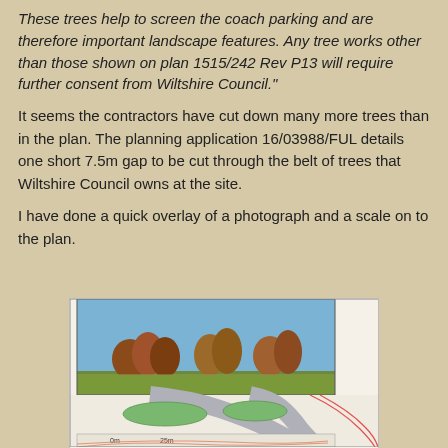These trees help to screen the coach parking and are therefore important landscape features. Any tree works other than those shown on plan 1515/242 Rev P13 will require further consent from Wiltshire Council."
It seems the contractors have cut down many more trees than in the plan. The planning application 16/03988/FUL details one short 7.5m gap to be cut through the belt of trees that Wiltshire Council owns at the site.
I have done a quick overlay of a photograph and a scale on to the plan.
[Figure (photo): Composite image showing an overlay of a photograph of trees on a landscape (autumn trees in a field with blue sky) placed over a site plan/map showing parking layout with green-shaded areas representing trees, a road/path layout, and scale bar.]